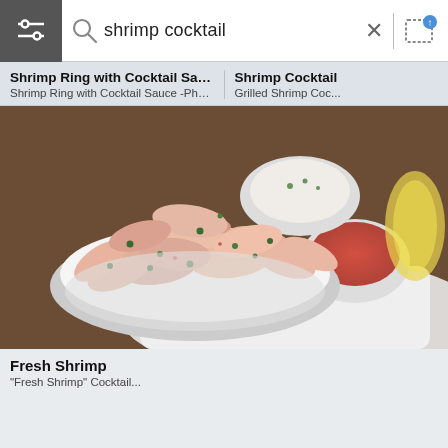shrimp cocktail
Shrimp Ring with Cocktail Sauce
Shrimp Ring with Cocktail Sauce -Photogra...
Shrimp Cocktail
Grilled Shrimp Coc...
[Figure (photo): A white bowl filled with cooked shrimp garnished with chopped parsley, with a small bowl of cocktail sauce, a bowl of white dipping sauce, and a lemon wedge on a white plate, on a dark wooden background.]
Fresh Shrimp